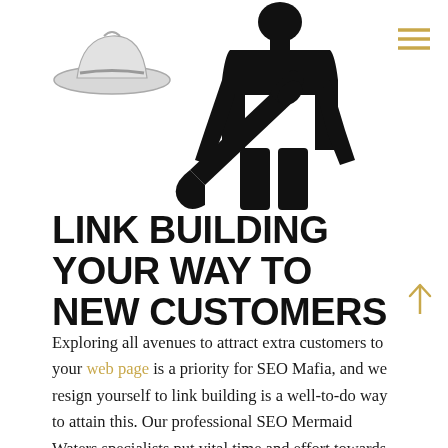[Figure (illustration): Black silhouette of a person in a suit holding a large wrench/tool, with a white fedora hat in the lower left area of the illustration. A hamburger menu icon (three horizontal lines) appears in the upper right.]
LINK BUILDING YOUR WAY TO NEW CUSTOMERS
Exploring all avenues to attract extra customers to your web page is a priority for SEO Mafia, and we resign yourself to link building is a well-to-do way to attain this. Our professional SEO Mermaid Waters specialists put vital time and effort towards SEO